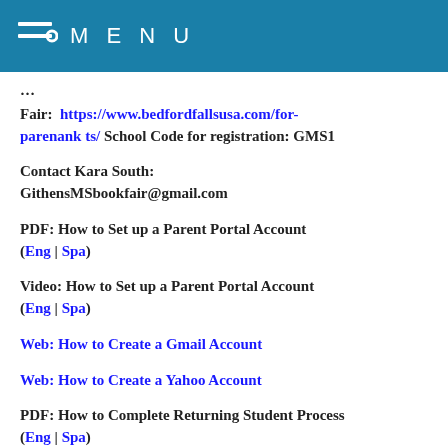MENU
Fair:  https://www.bedfordfallsusa.com/for-parenank ts/ School Code for registration: GMS1
Contact Kara South:
GithensMSbookfair@gmail.com
PDF: How to Set up a Parent Portal Account
(Eng | Spa)
Video: How to Set up a Parent Portal Account
(Eng | Spa)
Web: How to Create a Gmail Account
Web: How to Create a Yahoo Account
PDF: How to Complete Returning Student Process
(Eng | Spa)